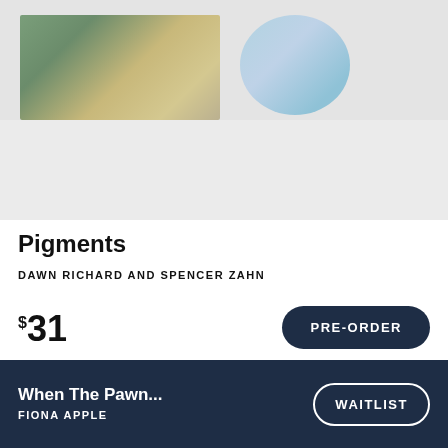[Figure (photo): Partial album artwork image showing nature/floral elements on the left and a circular patterned object on the right, partially cropped]
Pigments
DAWN RICHARD AND SPENCER ZAHN
$31
PRE-ORDER
VMP EXCLUSIVE PRESSING
When The Pawn...
FIONA APPLE
WAITLIST